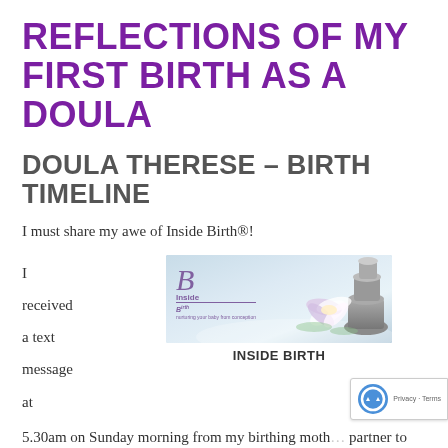REFLECTIONS OF MY FIRST BIRTH AS A DOULA
DOULA THERESE – BIRTH TIMELINE
I must share my awe of Inside Birth®!
I received a text message at 5.30am on Sunday morning from my birthing moth partner to say her waters had released and she was having some waves, but had gone back to bed. I asked
[Figure (photo): Inside Birth banner logo with water lily and stones. Shows the Inside Birth® brand logo with a stylized 'B', the text 'Inside Birth' and tagline 'nurturing your baby from conception', accompanied by a white/pink lotus flower and stacked stones on a blue/grey background.]
INSIDE BIRTH